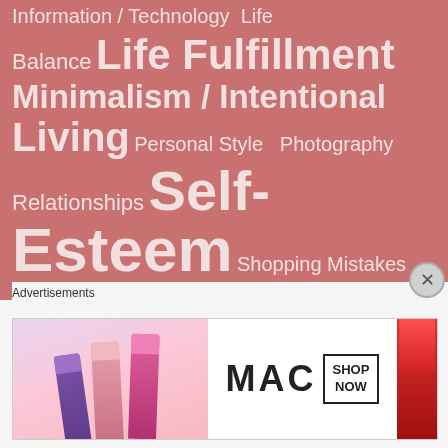[Figure (infographic): Tag cloud on a dusty rose/salmon background with white text. Tags vary in size indicating frequency/importance. Tags include: Information / Technology, Life Balance, Life Fulfillment, Minimalism / Intentional Living, Personal Style, Photography, Relationships, Self-Esteem, Shopping Mistakes, Shopping Tips, Spiritual Principles, Success and Failure, Time-Management / Productivity, Wardrobe All-Stars, Wardrobe Analysis, Wardrobe Benchwarmers, Wardrobe Experiments, Wardrobe Goals, Wardrobe Psychology, Wardrobe (cut off)]
Advertisements
[Figure (photo): MAC Cosmetics advertisement banner showing lipsticks in purple, pink, and red colors on the left, MAC logo in center, and SHOP NOW button on right.]